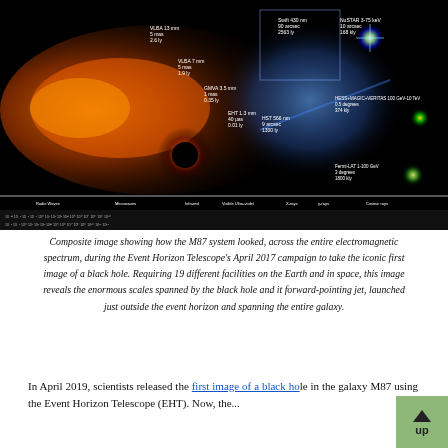[Figure (photo): Composite multi-wavelength image of the M87 system showing the black hole and its jet across the entire electromagnetic spectrum, with labels for different observing facilities (EHT, VLBA, GMVA, HST, NuSTAR, Fermi-LAT, HESS+MAGIC+VERITAS) and a scale bar at the bottom showing angular and physical scales from Radio Waves through Microwaves, Infrared, Visible, Ultra-violet, X-rays, Gamma-rays, and Cosmic rays.]
Composite image showing how the M87 system looked, across the entire electromagnetic spectrum, during the Event Horizon Telescope's April 2017 campaign to take the iconic first image of a black hole. Requiring 19 different facilities on the Earth and in space, this image reveals the enormous scales spanned by the black hole and it forward-pointing jet, launched just outside the event horizon and spanning the entire galaxy.
In April 2019, scientists released the first image of a black hole in the galaxy M87 using the Event Horizon Telescope (EHT). Now, the...